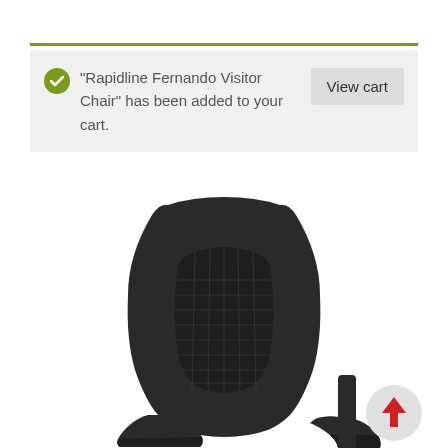"Rapidline Fernando Visitor Chair" has been added to your cart.
View cart
[Figure (photo): Close-up photo of a black mesh office/visitor chair showing the backrest with mesh lumbar panel and armrests, photographed from behind at a slight angle. A second armrest is visible to the right. A scroll-up button with a red arrow is overlaid in the bottom-right corner.]